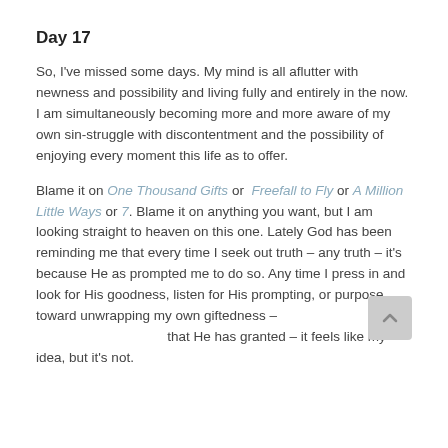Day 17
So, I've missed some days. My mind is all aflutter with newness and possibility and living fully and entirely in the now. I am simultaneously becoming more and more aware of my own sin-struggle with discontentment and the possibility of enjoying every moment this life as to offer.
Blame it on One Thousand Gifts or Freefall to Fly or A Million Little Ways or 7. Blame it on anything you want, but I am looking straight to heaven on this one. Lately God has been reminding me that every time I seek out truth – any truth – it's because He as prompted me to do so. Any time I press in and look for His goodness, listen for His prompting, or purpose toward unwrapping my own giftedness – that He has granted – it feels like my idea, but it's not.